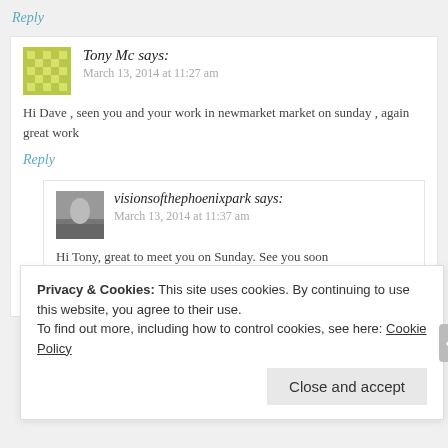Reply
Tony Mc says: March 13, 2014 at 11:27 am
Hi Dave , seen you and your work in newmarket market on sunday , again great work
Reply
visionsofthephoenixpark says: March 13, 2014 at 11:37 am
Hi Tony, great to meet you on Sunday.  See you soon
Reply
Privacy & Cookies:  This site uses cookies.  By continuing to use this website, you agree to their use.
To find out more, including how to control cookies, see here: Cookie Policy
Close and accept